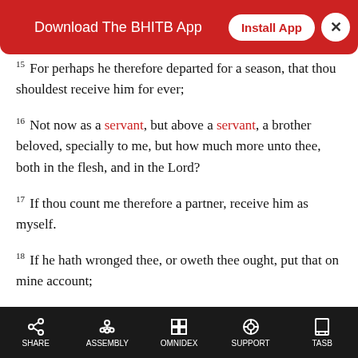[Figure (other): App download banner: 'Download The BHITB App' with 'Install App' button and close X button on red background]
15 For perhaps he therefore departed for a season, that thou shouldest receive him for ever;
16 Not now as a servant, but above a servant, a brother beloved, specially to me, but how much more unto thee, both in the flesh, and in the Lord?
17 If thou count me therefore a partner, receive him as myself.
18 If he hath wronged thee, or oweth thee ought, put that on mine account;
19 I Paul have written it with mine own hand, I will repay it:
SHARE  ASSEMBLY  OMNIDEX  SUPPORT  TASB